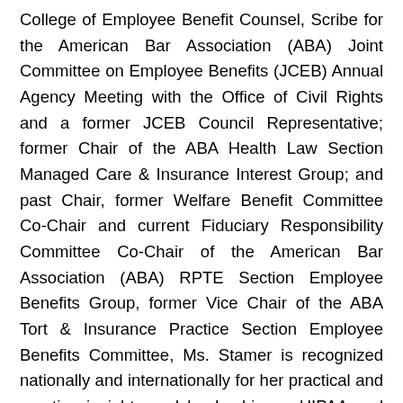College of Employee Benefit Counsel, Scribe for the American Bar Association (ABA) Joint Committee on Employee Benefits (JCEB) Annual Agency Meeting with the Office of Civil Rights and a former JCEB Council Representative; former Chair of the ABA Health Law Section Managed Care & Insurance Interest Group; and past Chair, former Welfare Benefit Committee Co-Chair and current Fiduciary Responsibility Committee Co-Chair of the American Bar Association (ABA) RPTE Section Employee Benefits Group, former Vice Chair of the ABA Tort & Insurance Practice Section Employee Benefits Committee, Ms. Stamer is recognized nationally and internationally for her practical and creative insights and leadership on HIPAA and other health care, managed care and insurance, and other employee benefit, human resources, and related antitrust, corporate, privacy and